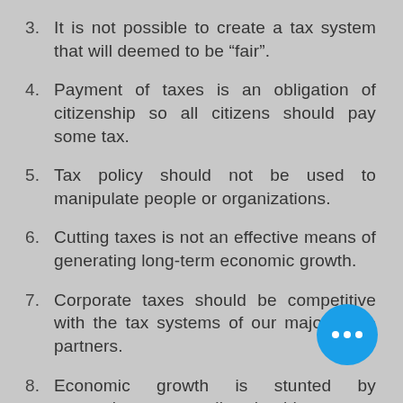3. It is not possible to create a tax system that will deemed to be “fair”.
4. Payment of taxes is an obligation of citizenship so all citizens should pay some tax.
5. Tax policy should not be used to manipulate people or organizations.
6. Cutting taxes is not an effective means of generating long-term economic growth.
7. Corporate taxes should be competitive with the tax systems of our major trade partners.
8. Economic growth is stun[ted by] uncertainty so tax policy should